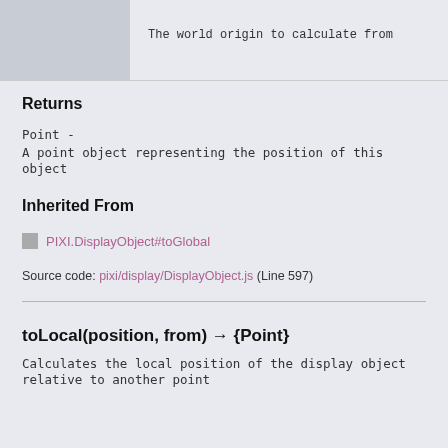|  | Description |
| --- | --- |
|  | The world origin to calculate from |
Returns
Point -
A point object representing the position of this object
Inherited From
PIXI.DisplayObject#toGlobal
Source code: pixi/display/DisplayObject.js (Line 597)
toLocal(position, from) → {Point}
Calculates the local position of the display object relative to another point